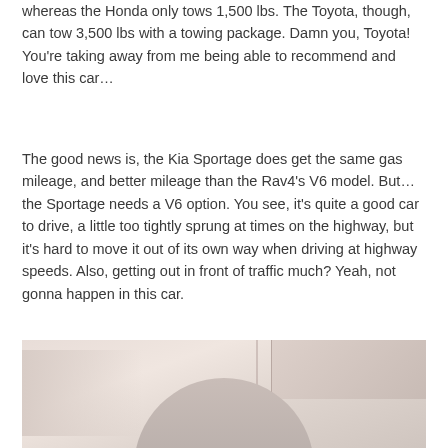whereas the Honda only tows 1,500 lbs. The Toyota, though, can tow 3,500 lbs with a towing package. Damn you, Toyota! You're taking away from me being able to recommend and love this car…
The good news is, the Kia Sportage does get the same gas mileage, and better mileage than the Rav4's V6 model. But… the Sportage needs a V6 option. You see, it's quite a good car to drive, a little too tightly sprung at times on the highway, but it's hard to move it out of its own way when driving at highway speeds. Also, getting out in front of traffic much? Yeah, not gonna happen in this car.
[Figure (photo): Partial interior/exterior photo of a car, showing a light pinkish-beige background with a vertical divider line, suggesting an interior shot of a vehicle interior or showroom setting.]